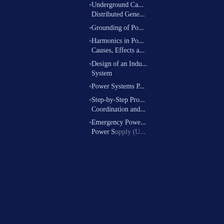Underground Ca... Distributed Gene...
Grounding of Po...
Harmonics in Po... Causes, Effects a...
Design of an Indu... System
Power Systems P...
Step-by-Step Pro... Coordination and...
Emergency Powe... Power Supply (U...
About Dr.P.K.Sen
Dr. P.K. Sen, P.E. Fellow I... years of combined teaching, r... engineering experience. Prior... of Mines in 200... Dr. Sen tau... University of Colorado. His in... includes power plants and sub...
IEEE websites place cookies on your device to give you the best user experience. By using our websites, you agree to the placement of these cookies. To learn more, read our Privacy Policy.
Accept & Close